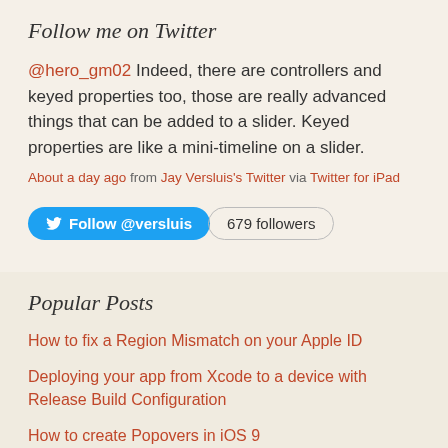Follow me on Twitter
@hero_gm02 Indeed, there are controllers and keyed properties too, those are really advanced things that can be added to a slider. Keyed properties are like a mini-timeline on a slider.
About a day ago from Jay Versluis's Twitter via Twitter for iPad
[Figure (other): Twitter Follow @versluis button with 679 followers badge]
Popular Posts
How to fix a Region Mismatch on your Apple ID
Deploying your app from Xcode to a device with Release Build Configuration
How to create Popovers in iOS 9
How to define Preprocessor Macros in Xcode